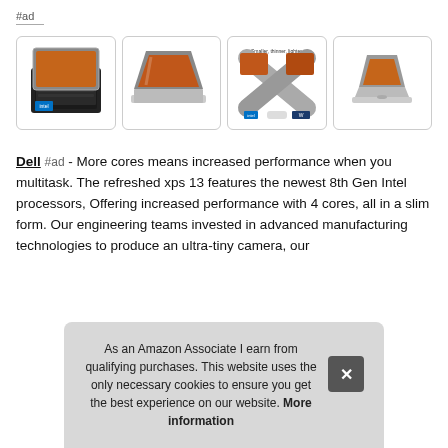#ad
[Figure (photo): Four product images of Dell XPS 13 laptops showing different angles and marketing highlights including 'Smaller, thinner, lighter' tagline]
Dell #ad - More cores means increased performance when you multitask. The refreshed xps 13 features the newest 8th Gen Intel processors, Offering increased performance with 4 cores, all in a slim form. Our engineering teams invested in advanced manufacturing technologies to produce an ultra-tiny camera, our Xps blo piec
As an Amazon Associate I earn from qualifying purchases. This website uses the only necessary cookies to ensure you get the best experience on our website. More information